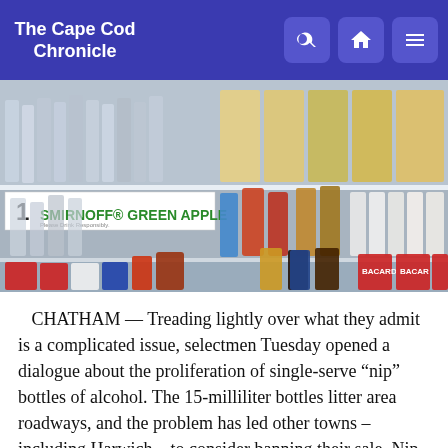The Cape Cod Chronicle
[Figure (photo): Photo of a liquor store shelf stocked with mini nip bottles of alcohol, including Smirnoff Green Apple and other brands. A shelf label reads '1 SMIRNOFF GREEN APPLE'.]
CHATHAM — Treading lightly over what they admit is a complicated issue, selectmen Tuesday opened a dialogue about the proliferation of single-serve “nip” bottles of alcohol. The 15-milliliter bottles litter area roadways, and the problem has led other towns – including Harwich – to consider banning their sale. Nip bans are already in place on the Upper Cape, Selectman Jeffrey Dykens noted. When he walks Route